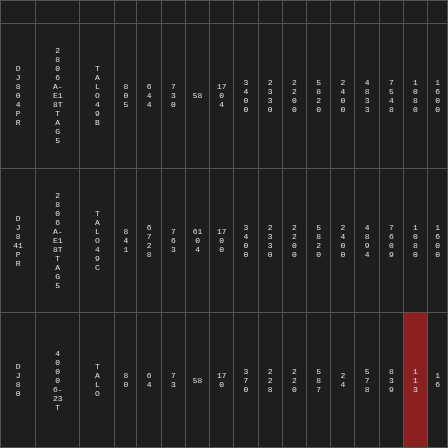|  |  |  |  |  |  |  |  |  |  |  |  |  |  |  |  |  |
| DJ
80
4
PR | 2
8
0
6
A-
E1
8T
T
A
G
5 | T
A
L
O
4
9
B | 8
0
5 | 6
4
4 | 7
3
0 | 58 | 17
0
4 | 3
4
0
0 | 2
3
3
0 | 2
2
0
0 | 5
8
2
0 | 2
4
0
0 | 4
8
3
3 | 7
5
4
8 | 1
0
8
0 | 1
6
0
0 |
| DJ
8
41
PR | 2
8
0
6
A-
E1
8T
T
A
G
5 | T
A
L
O
4
9
C | 8
4
1 | 6
7
2
8 | 7
6
3 | 61
0
4 | 17
0
0 | 3
4
0
0 | 2
3
3
0 | 2
2
0
0 | 5
8
2
0 | 2
4
0
0 | 4
8
9
4 | 7
6
0
9 | 1
0
8
0 | 1
6
0
0 |
| DJ
8
0 | 4
0
0
0
6-
23
T | T
A
L
O | 8
0 | 6
4 | 7
3 | 58 | 17
0 | 3
7
0 | 2
2
8 | 2
2
0 | 5
8
7 | 2
4 | 5
7
8 | 8
3
9 | 1
1
3 | 1
6 |